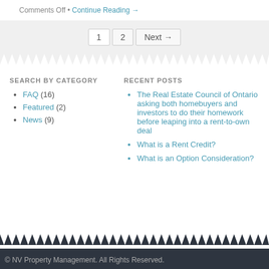Comments Off • Continue Reading →
1  2  Next →
SEARCH BY CATEGORY
FAQ (16)
Featured (2)
News (9)
RECENT POSTS
The Real Estate Council of Ontario asking both homebuyers and investors to do their homework before leaping into a rent-to-own deal
What is a Rent Credit?
What is an Option Consideration?
© NV Property Management. All Rights Reserved.